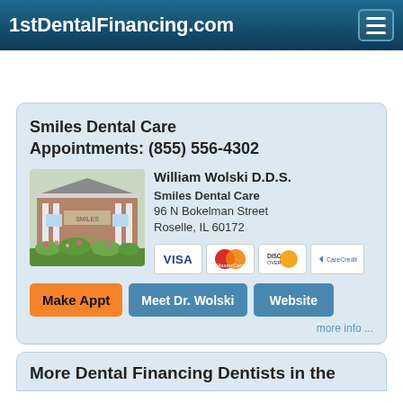1stDentalFinancing.com
Smiles Dental Care
Appointments: (855) 556-4302
[Figure (photo): Exterior photo of Smiles Dental Care building with brick facade and landscaped garden with flowers]
William Wolski D.D.S.
Smiles Dental Care
96 N Bokelman Street
Roselle, IL 60172
[Figure (other): Payment method icons: Visa, MasterCard, Discover, CareCredit]
Make Appt   Meet Dr. Wolski   Website
more info ...
More Dental Financing Dentists in the